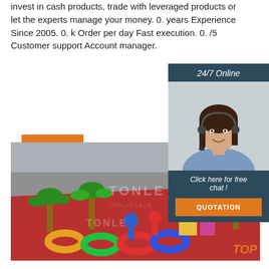invest in cash products, trade with leveraged products or let the experts manage your money. 0. years Experience Since 2005. 0. k Order per day Fast execution. 0. /5 Customer support Account manager.
[Figure (other): Orange 'Get Price' button]
[Figure (other): 24/7 Online chat widget with photo of woman wearing headset, 'Click here for free chat!' text, and orange QUOTATION button]
[Figure (photo): Photograph of inflatable toy playground items (colorful palm trees, rings, figures) on a red mat, with TONLE watermark overlay and orange TOP label in bottom right]